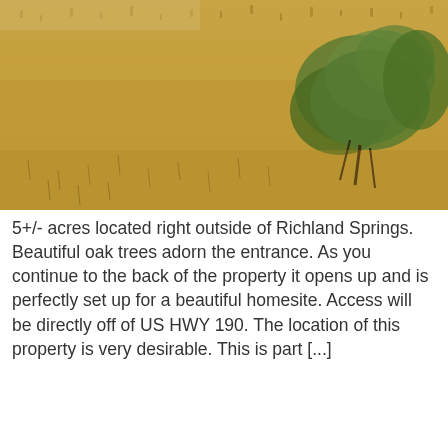[Figure (photo): Photograph of dry scrubland with yellow-brown dry grass covering most of the ground, and a green shrub/bush visible in the upper right area. The terrain appears to be arid land.]
5+/- acres located right outside of Richland Springs. Beautiful oak trees adorn the entrance. As you continue to the back of the property it opens up and is perfectly set up for a beautiful homesite. Access will be directly off of US HWY 190. The location of this property is very desirable. This is part [...]
MARTIN 45